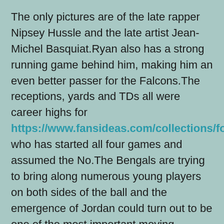The only pictures are of the late rapper Nipsey Hussle and the late artist Jean-Michel Basquiat.Ryan also has a strong running game behind him, making him an even better passer for the Falcons.The receptions, yards and TDs all were career highs for https://www.fansideas.com/collections/football who has started all four games and assumed the No.The Bengals are trying to bring along numerous young players on both sides of the ball and the emergence of Jordan could turn out to be one of the most important moving forward.
Unfortunately, we don't get to play with 13 players.Over those 11 contests, Duffner's defense improved its yards allowed per game from 439 to 357, despite losing several defenders to injuries.While the foe has lined up 33 times to convert third down an